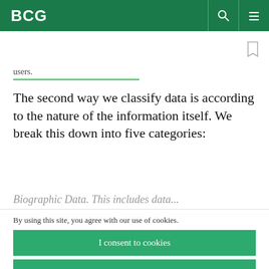BCG
users.
The second way we classify data is according to the nature of the information itself. We break this down into five categories:
By using this site, you agree with our use of cookies.
I consent to cookies
Want to know more?
Read our Cookie Policy